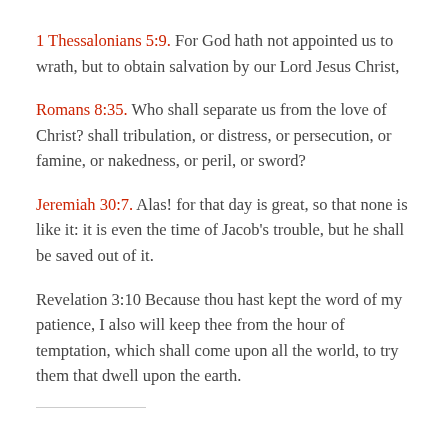1 Thessalonians 5:9. For God hath not appointed us to wrath, but to obtain salvation by our Lord Jesus Christ,
Romans 8:35. Who shall separate us from the love of Christ? shall tribulation, or distress, or persecution, or famine, or nakedness, or peril, or sword?
Jeremiah 30:7. Alas! for that day is great, so that none is like it: it is even the time of Jacob's trouble, but he shall be saved out of it.
Revelation 3:10 Because thou hast kept the word of my patience, I also will keep thee from the hour of temptation, which shall come upon all the world, to try them that dwell upon the earth.